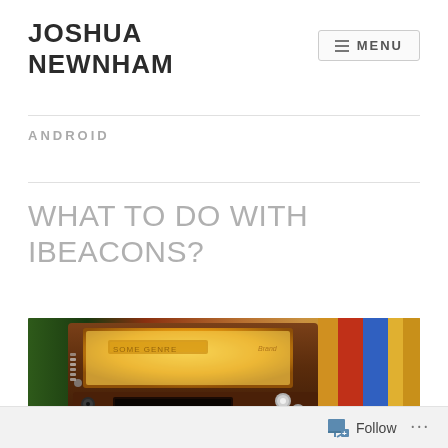JOSHUA NEWNHAM
ANDROID
WHAT TO DO WITH IBEACONS?
[Figure (photo): Close-up photograph of a vintage jukebox, showing wooden paneling, chrome details, and colorful illuminated display with warm yellow lighting]
Follow